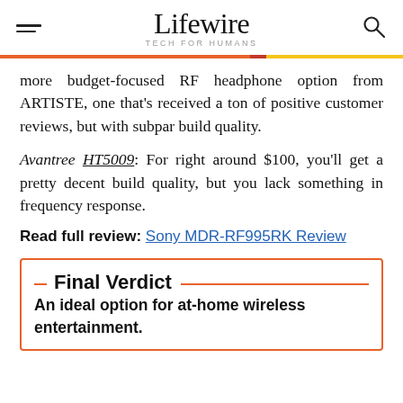Lifewire — TECH FOR HUMANS
more budget-focused RF headphone option from ARTISTE, one that's received a ton of positive customer reviews, but with subpar build quality.
Avantree HT5009: For right around $100, you'll get a pretty decent build quality, but you lack something in frequency response.
Read full review: Sony MDR-RF995RK Review
Final Verdict
An ideal option for at-home wireless entertainment.